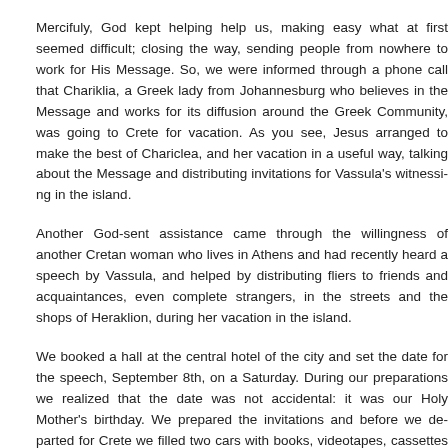Mercifuly, God kept helping help us, making easy what at first seemed difficult; closing the way, sending people from nowhere to work for His Message. So, we were informed through a phone call that Chariklia, a Greek lady from Johannesburg who believes in the Message and works for its diffusion around the Greek Community, was going to Crete for vacation. As you see, Jesus arranged to make the best of Chariclea, and her vacation in a useful way, talking about the Message and distributing invitations for Vassula's witnessing in the island.
Another God-sent assistance came through the willingness of another Cretan woman who lives in Athens and had recently heard a speech by Vassula, and helped by distributing fliers to friends and acquaintances, even complete strangers, in the streets and the shops of Heraklion, during her vacation in the island.
We booked a hall at the central hotel of the city and set the date for the speech, September 8th, on a Saturday. During our preparations we realized that the date was not accidental: it was our Holy Mother's birthday. We prepared the invitations and before we departed for Crete we filled two cars with books, videotapes, cassettes and fliers. Some of us were going to continue their "vacation" in Crete and others would come to Crete from Athens and Rhodes.
On Wednesday 5-9-2001, at 4:30 in the morning, just a few days before the scheduled speech, the ship left the port of Rhodes for Crete. It was a beautiful sea voyage of about 12 hours. I made it to the hotel to meet Theodora who had arrived the same day from Athens. Our first exit to the streets started about 8 pm the same evening. We distributed fliers hand-to-hand along with Vassula's biographical resume.